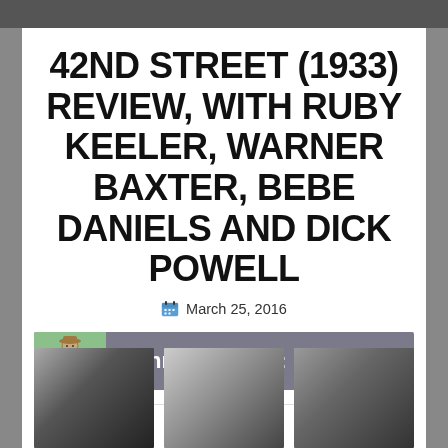42ND STREET (1933) REVIEW, WITH RUBY KEELER, WARNER BAXTER, BEBE DANIELS AND DICK POWELL
March 25, 2016
[Figure (infographic): Danny's Rating: Like — a rating bar with a green icon box showing a cartoon figure and grey bar with white text]
[Figure (photo): Three black-and-white film stills from 42nd Street (1933) showing various actors]